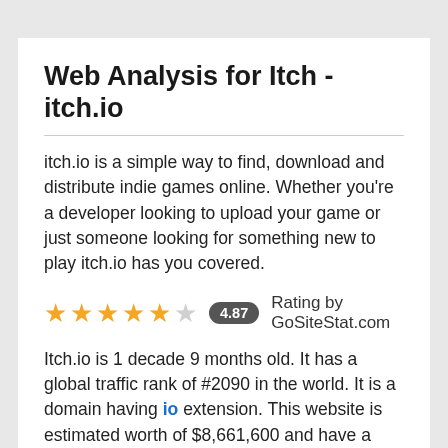Web Analysis for Itch - itch.io
itch.io is a simple way to find, download and distribute indie games online. Whether you're a developer looking to upload your game or just someone looking for something new to play itch.io has you covered.
4.87 Rating by GoSiteStat.com
Itch.io is 1 decade 9 months old. It has a global traffic rank of #2090 in the world. It is a domain having io extension. This website is estimated worth of $8,661,600 and have a daily income of around $8,020. As no active threats were